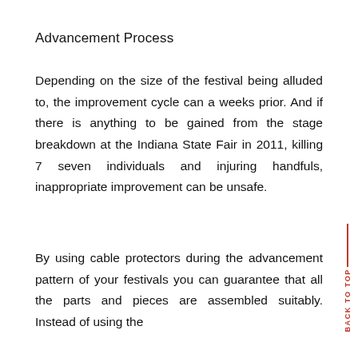Advancement Process
Depending on the size of the festival being alluded to, the improvement cycle can a weeks prior. And if there is anything to be gained from the stage breakdown at the Indiana State Fair in 2011, killing 7 seven individuals and injuring handfuls, inappropriate improvement can be unsafe.
By using cable protectors during the advancement pattern of your festivals you can guarantee that all the parts and pieces are assembled suitably. Instead of using the